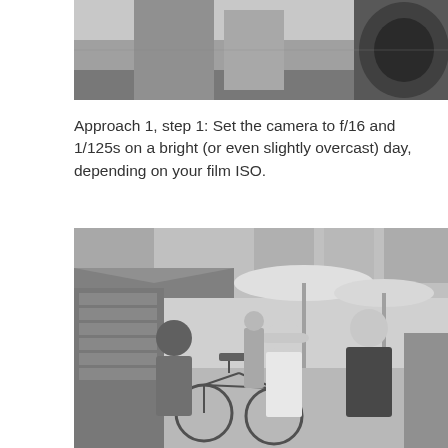[Figure (photo): Black and white photograph showing partial view of a person and camera equipment, top portion only visible]
Approach 1, step 1: Set the camera to f/16 and 1/125s on a bright (or even slightly overcast) day, depending on your film ISO.
[Figure (photo): Black and white street photography showing people walking in a busy market street in Asia, with bicycles, market stalls with awnings, umbrellas, and crowds in the background]